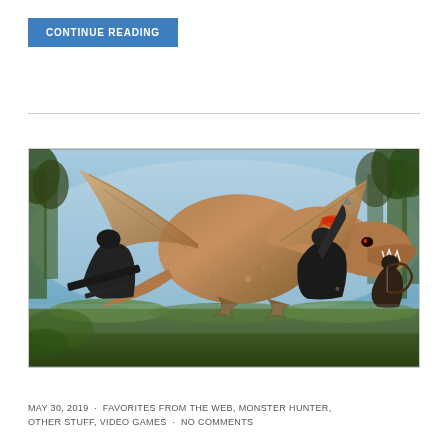CONTINUE READING
[Figure (photo): Monster Hunter video game screenshot showing armored hunters battling a large dragon/monster creature in a forest environment. Multiple hunters are visible with weapons drawn attacking a winged beast.]
MAY 30, 2019 · FAVORITES FROM THE WEB, MONSTER HUNTER, OTHER STUFF, VIDEO GAMES · NO COMMENTS